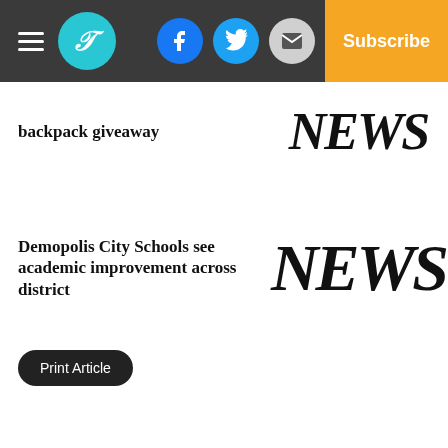Navigation header with logo, social icons (Facebook, Twitter, Email), and Subscribe button
backpack giveaway
[Figure (other): NEWS italic bold text graphic placeholder for article image]
Demopolis City Schools see academic improvement across district
[Figure (other): NEWS italic bold text graphic placeholder for article image]
Print Article